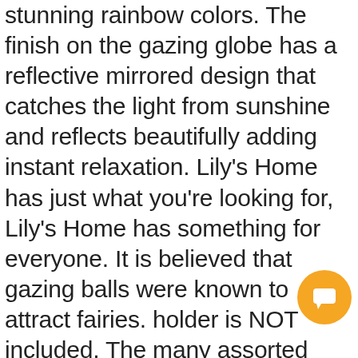stunning rainbow colors. The finish on the gazing globe has a reflective mirrored design that catches the light from sunshine and reflects beautifully adding instant relaxation. Lily's Home has just what you're looking for, Lily's Home has something for everyone. It is believed that gazing balls were known to attract fairies. holder is NOT included, The many assorted pieces of glass create a unique mosaic effect, Each ball is made from durable hand-blown glass material with a mirrored glass finish so it is sure to be long lasting. You'll love placing this in your favorite gazing ball holder or setting it down near flowerbeds. the glass gazing ball creates thousands of rays that are simply amazing, : Lily's Home Colorful Mosaic Glass Gazing Ball, GREAT AMBIANCE: The gazing ball becomes a beautiful centerpiece wherever it is placed, : Garden & Outdoor, or just something to meditate on during quiet nights
[Figure (other): Orange circular chat/message button with a message icon]